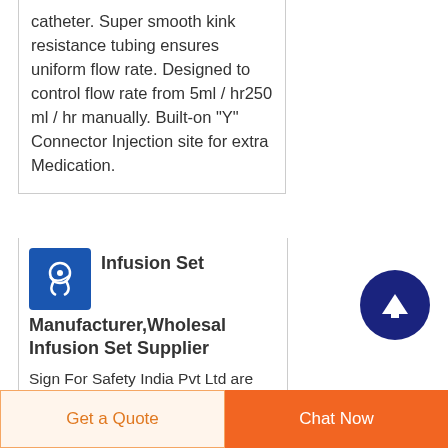catheter. Super smooth kink resistance tubing ensures uniform flow rate. Designed to control flow rate from 5ml / hr250 ml / hr manually. Built-on "Y" Connector Injection site for extra Medication.
[Figure (logo): Blue square icon with white medical/infusion imagery]
Infusion Set Manufacturer,Wholesal Infusion Set Supplier
Sign For Safety India Pvt Ltd are leading Manufacturer & Supplier of Infusion Set in Navi Mumbai Maharashtra
[Figure (illustration): Dark blue circular scroll-to-top button with upward arrow]
Get a Quote
Chat Now